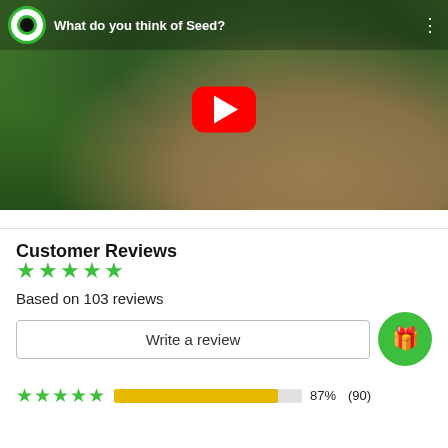[Figure (screenshot): YouTube video thumbnail showing a man in a black cap and shirt holding a green seed product box outdoors, with trees in background. Video title: 'What do you think of Seed?']
Customer Reviews
★★★★★
Based on 103 reviews
Write a review
87%  (90)